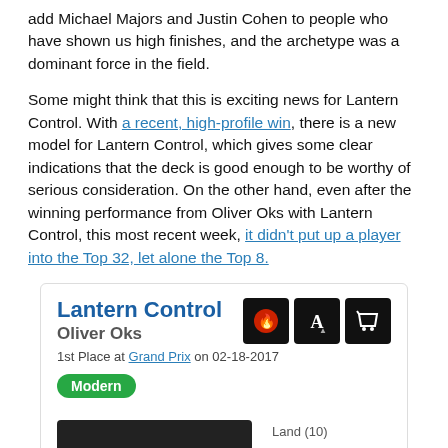add Michael Majors and Justin Cohen to people who have shown us high finishes, and the archetype was a dominant force in the field.
Some might think that this is exciting news for Lantern Control. With a recent, high-profile win, there is a new model for Lantern Control, which gives some clear indications that the deck is good enough to be worthy of serious consideration. On the other hand, even after the winning performance from Oliver Oks with Lantern Control, this most recent week, it didn't put up a player into the Top 32, let alone the Top 8.
Lantern Control — Oliver Oks
1st Place at Grand Prix on 02-18-2017
Modern